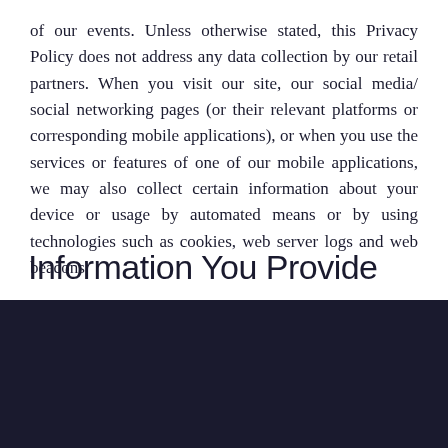of our events. Unless otherwise stated, this Privacy Policy does not address any data collection by our retail partners. When you visit our site, our social media/ social networking pages (or their relevant platforms or corresponding mobile applications), or when you use the services or features of one of our mobile applications, we may also collect certain information about your device or usage by automated means or by using technologies such as cookies, web server logs and web beacons.
Information You Provide
[Figure (screenshot): Cookie consent banner overlay on dark background with close button (×), cookie usage text, and 'Learn more' button with border.]